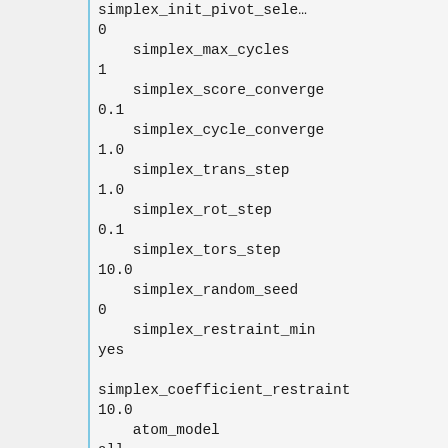simplex_init_pivot_selection
0
    simplex_max_cycles
1
    simplex_score_converge
0.1
    simplex_cycle_converge
1.0
    simplex_trans_step
1.0
    simplex_rot_step
0.1
    simplex_tors_step
10.0
    simplex_random_seed
0
    simplex_restraint_min
yes

simplex_coefficient_restraint
10.0
    atom_model
all
    vdw_defn_file
/opt/AMS536/dock6/parameters/v...
    flex_defn_file